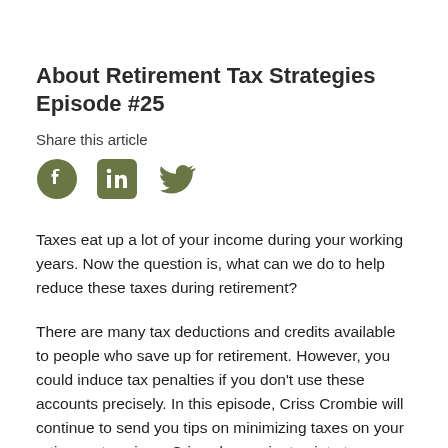About Retirement Tax Strategies Episode #25
Share this article
[Figure (other): Social media share icons: Facebook, LinkedIn, Twitter in olive/dark green color]
Taxes eat up a lot of your income during your working years. Now the question is, what can we do to help reduce these taxes during retirement?
There are many tax deductions and credits available to people who save up for retirement. However, you could induce tax penalties if you don't use these accounts precisely. In this episode, Criss Crombie will continue to send you tips on minimizing taxes on your retirement savings. Criss also navigates into two